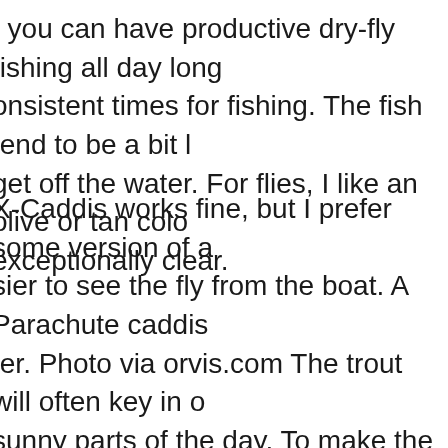, you can have productive dry-fly fishing all day long. consistent times for fishing. The fish tend to be a bit l get off the water. For flies, I like an olive or tan colo exceptionally clear.
X-Caddis works fine, but I prefer some version of a sier to see the fly from the boat. A Parachute caddis ter. Photo via orvis.com The trout will often key in o sunny parts of the day. To make the most of this, I of lly catches at least as many fish, if not more, than th Caddis Emerger are my top choices. This is one of the nce at some point in their fishing career. While it doe ht will produce enough fish stories to forget about a